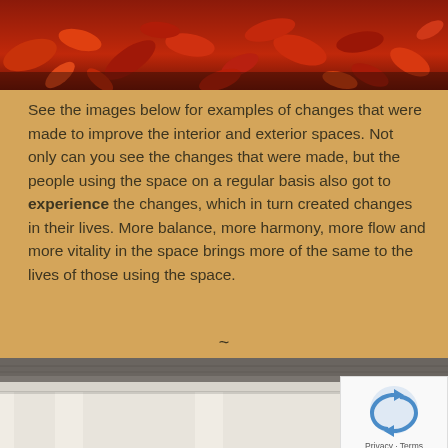[Figure (photo): Close-up photo of red and orange autumn fallen leaves on the ground]
See the images below for examples of changes that were made to improve the interior and exterior spaces. Not only can you see the changes that were made, but the people using the space on a regular basis also got to experience the changes, which in turn created changes in their lives. More balance, more harmony, more flow and more vitality in the space brings more of the same to the lives of those using the space.
~
[Figure (photo): Photo of exterior of a house showing white columns and roof overhang, with trees visible in background]